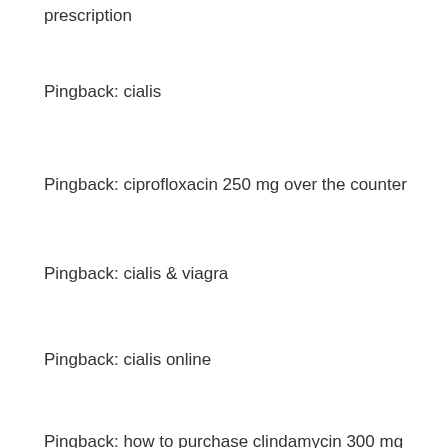prescription
Pingback: cialis
Pingback: ciprofloxacin 250 mg over the counter
Pingback: cialis & viagra
Pingback: cialis online
Pingback: how to purchase clindamycin 300 mg